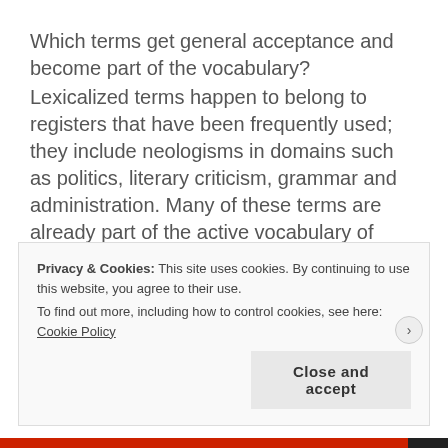Which terms get general acceptance and become part of the vocabulary? Lexicalized terms happen to belong to registers that have been frequently used; they include neologisms in domains such as politics, literary criticism, grammar and administration. Many of these terms are already part of the active vocabulary of those who are literates, especially in their writing.
Privacy & Cookies: This site uses cookies. By continuing to use this website, you agree to their use. To find out more, including how to control cookies, see here: Cookie Policy